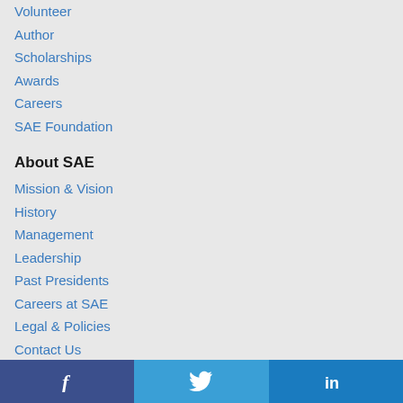Volunteer
Author
Scholarships
Awards
Careers
SAE Foundation
About SAE
Mission & Vision
History
Management
Leadership
Past Presidents
Careers at SAE
Legal & Policies
Contact Us
Global Affiliates
SAE Brasil
SAE India
SAE International in China
Performance Review Institute (PRI)
[Figure (other): Social media bar with Facebook, Twitter, and LinkedIn icons]